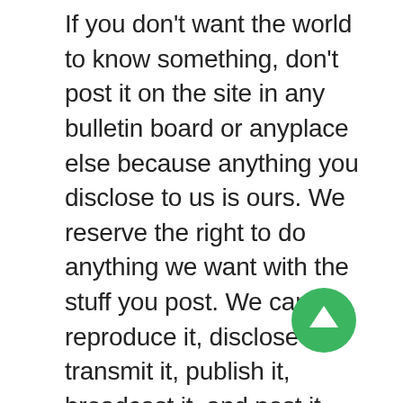If you don't want the world to know something, don't post it on the site in any bulletin board or anyplace else because anything you disclose to us is ours.  We reserve the right to do anything we want with the stuff you post.  We can reproduce it, disclose it, transmit it, publish it, broadcast it, and post it someplace else.  Not only that, we can even use any ideas, concepts, know-how, or techniques you post any way we want to, including developing, manufacturing, and marketing products, or other stuff using the information you post.
[Figure (other): Green circular button with white upward arrow icon (scroll-to-top or navigation button)]
Pictures of people or places shown on the site are either our property or someone else's